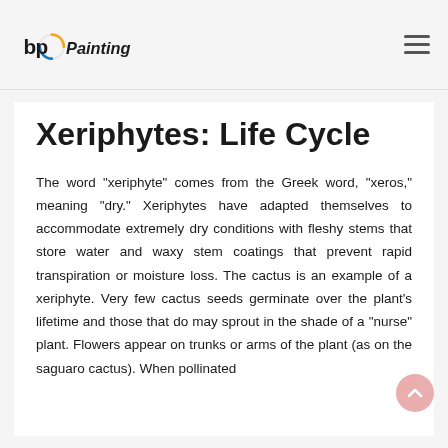bp Painting
Xeriphytes: Life Cycle
The word "xeriphyte" comes from the Greek word, "xeros," meaning "dry." Xeriphytes have adapted themselves to accommodate extremely dry conditions with fleshy stems that store water and waxy stem coatings that prevent rapid transpiration or moisture loss. The cactus is an example of a xeriphyte. Very few cactus seeds germinate over the plant's lifetime and those that do may sprout in the shade of a "nurse" plant. Flowers appear on trunks or arms of the plant (as on the saguaro cactus). When pollinated